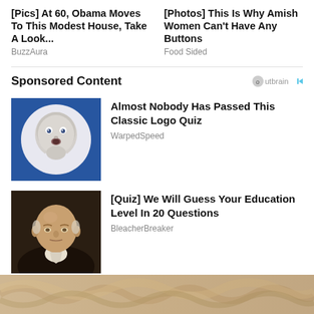[Pics] At 60, Obama Moves To This Modest House, Take A Look...
BuzzAura
[Photos] This Is Why Amish Women Can't Have Any Buttons
Food Sided
Sponsored Content
[Figure (illustration): Blue background with hand-drawn style baby face illustration (Gerber baby style)]
Almost Nobody Has Passed This Classic Logo Quiz
WarpedSpeed
[Figure (photo): Portrait painting of an elderly bald man in formal 19th century attire with white cravat]
[Quiz] We Will Guess Your Education Level In 20 Questions
BleacherBreaker
[Figure (photo): Partial view of a light-colored wavy or textured surface, beige/tan tones, cropped at bottom of page]